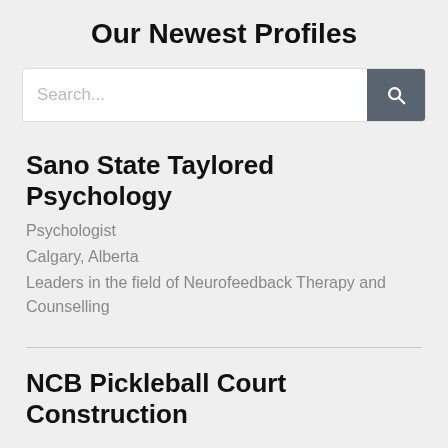Our Newest Profiles
[Figure (screenshot): Search bar with text input placeholder 'Search...' and a dark grey search button with magnifying glass icon]
Sano State Taylored Psychology
Psychologist
Calgary, Alberta
Leaders in the field of Neurofeedback Therapy and Counselling
NCB Pickleball Court Construction